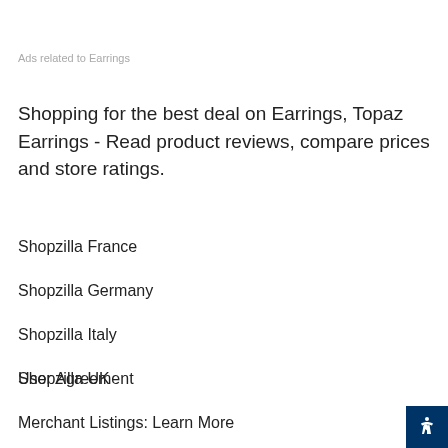Ads related to Earrings
Shopping for the best deal on Earrings, Topaz Earrings - Read product reviews, compare prices and store ratings.
Shopzilla France
Shopzilla Germany
Shopzilla Italy
Shopzilla UK
User Agreement
Merchant Listings: Learn More